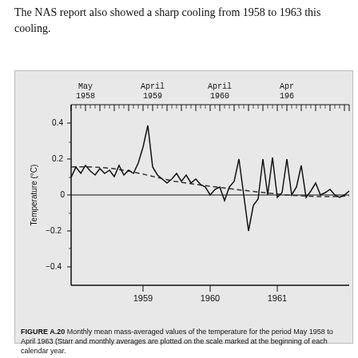The NAS report also showed a sharp cooling from 1958 to 1963 this cooling.
[Figure (continuous-plot): Line chart showing monthly mean mass-averaged temperature values from May 1958 to April 1963. Solid line shows monthly values with peaks near 0.5°C in early 1959 and fluctuations. Dashed line shows a declining trend from about 0.3°C to near 0°C. X-axis top labels show April/May months for each year. Bottom x-axis shows years 1959, 1960, 1961. Y-axis ranges from about -0.4 to 0.5°C.]
FIGURE A.20 Monthly mean mass-averaged values of the temperature for the period May 1958 to April 1963 (Starr and monthly averages are plotted on the scale marked at the beginning of each calendar year.